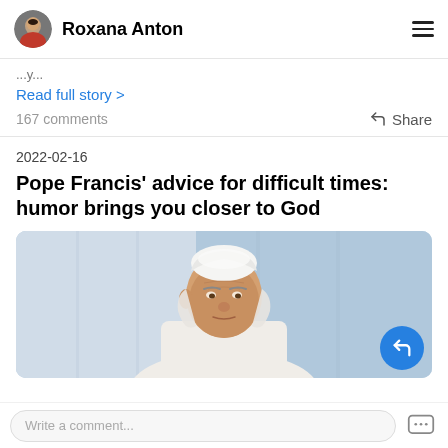Roxana Anton
...
Read full story >
167 comments
Share
2022-02-16
Pope Francis' advice for difficult times: humor brings you closer to God
[Figure (photo): Photo of Pope Francis wearing white papal zucchetto cap, elderly man with white hair, blue/grey background]
Write a comment...